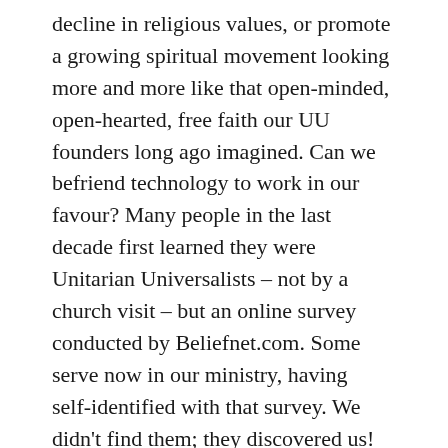decline in religious values, or promote a growing spiritual movement looking more and more like that open-minded, open-hearted, free faith our UU founders long ago imagined. Can we befriend technology to work in our favour? Many people in the last decade first learned they were Unitarian Universalists – not by a church visit – but an online survey conducted by Beliefnet.com. Some serve now in our ministry, having self-identified with that survey. We didn't find them; they discovered us! All we need to is be discoverable. Should we develop our use of social media; I vote YES! What about people losing faith in institutions – religious as well as political – church as usual? They still need community, but they're